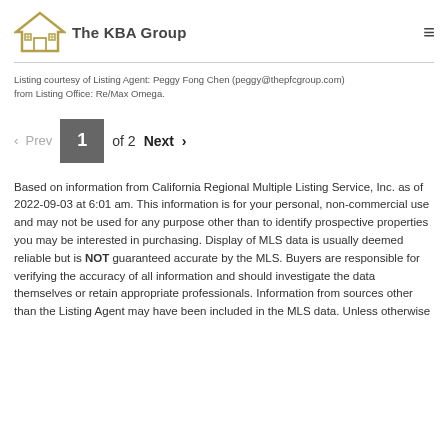The KBA Group
Listing courtesy of Listing Agent: Peggy Fong Chen (peggy@thepfcgroup.com) from Listing Office: Re/Max Omega.
< Prev  1  of 2  Next >
Based on information from California Regional Multiple Listing Service, Inc. as of 2022-09-03 at 6:01 am. This information is for your personal, non-commercial use and may not be used for any purpose other than to identify prospective properties you may be interested in purchasing. Display of MLS data is usually deemed reliable but is NOT guaranteed accurate by the MLS. Buyers are responsible for verifying the accuracy of all information and should investigate the data themselves or retain appropriate professionals. Information from sources other than the Listing Agent may have been included in the MLS data. Unless otherwise